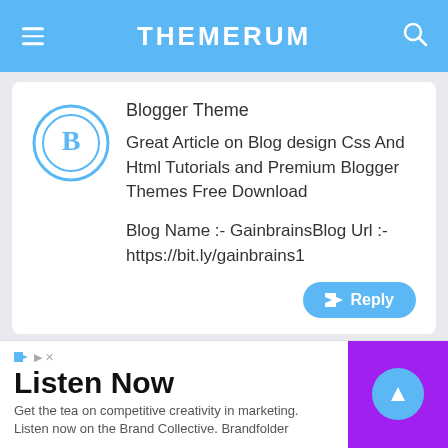THEMERUM
Blogger Theme
Great Article on Blog design Css And Html Tutorials and Premium Blogger Themes Free Download
Blog Name :- GainbrainsBlog Url :- https://bit.ly/gainbrains1
Reply
[Figure (screenshot): Ad banner: Listen Now - Get the tea on competitive creativity in marketing. Listen now on the Brand Collective. Brandfolder]